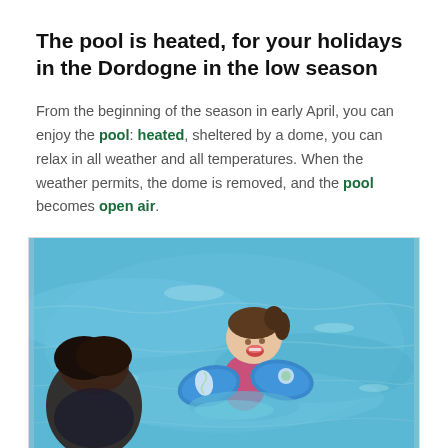The pool is heated, for your holidays in the Dordogne in the low season
From the beginning of the season in early April, you can enjoy the pool: heated, sheltered by a dome, you can relax in all weather and all temperatures. When the weather permits, the dome is removed, and the pool becomes open air.
[Figure (photo): A young toddler wearing blue inflatable arm floaties and a pink swimsuit swimming in a bright blue pool, smiling happily, with an adult visible in the foreground on the left side.]